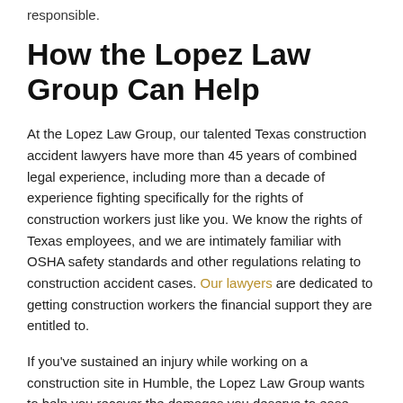responsible.
How the Lopez Law Group Can Help
At the Lopez Law Group, our talented Texas construction accident lawyers have more than 45 years of combined legal experience, including more than a decade of experience fighting specifically for the rights of construction workers just like you. We know the rights of Texas employees, and we are intimately familiar with OSHA safety standards and other regulations relating to construction accident cases. Our lawyers are dedicated to getting construction workers the financial support they are entitled to.
If you've sustained an injury while working on a construction site in Humble, the Lopez Law Group wants to help you recover the damages you deserve to ease your burden. Proudly serving Houston, Weslaco